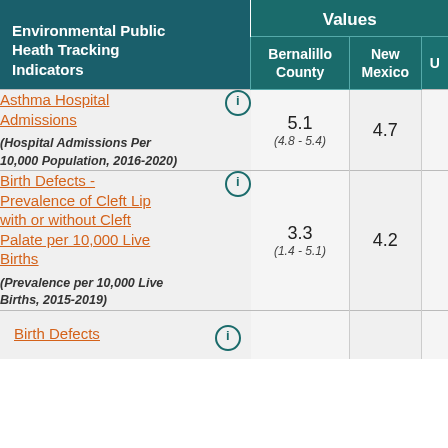| Environmental Public Heath Tracking Indicators | Bernalillo County | New Mexico | U |
| --- | --- | --- | --- |
| Asthma Hospital Admissions (Hospital Admissions Per 10,000 Population, 2016-2020) | 5.1 (4.8 - 5.4) | 4.7 |  |
| Birth Defects - Prevalence of Cleft Lip with or without Cleft Palate per 10,000 Live Births (Prevalence per 10,000 Live Births, 2015-2019) | 3.3 (1.4 - 5.1) | 4.2 |  |
| Birth Defects |  |  |  |